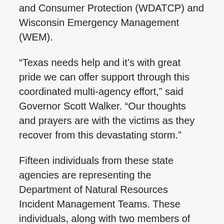and Consumer Protection (WDATCP) and Wisconsin Emergency Management (WEM).
“Texas needs help and it’s with great pride we can offer support through this coordinated multi-agency effort,” said Governor Scott Walker. “Our thoughts and prayers are with the victims as they recover from this devastating storm.”
Fifteen individuals from these state agencies are representing the Department of Natural Resources Incident Management Teams. These individuals, along with two members of the Minnesota DNR, will respond to College Station, Texas, to manage a supply receiving and distribution